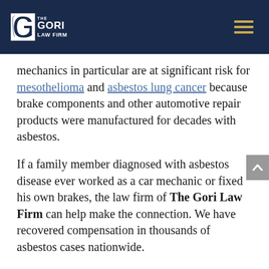The Gori Law Firm
mechanics in particular are at significant risk for mesothelioma and asbestos lung cancer because brake components and other automotive repair products were manufactured for decades with asbestos.
If a family member diagnosed with asbestos disease ever worked as a car mechanic or fixed his own brakes, the law firm of The Gori Law Firm can help make the connection. We have recovered compensation in thousands of asbestos cases nationwide.